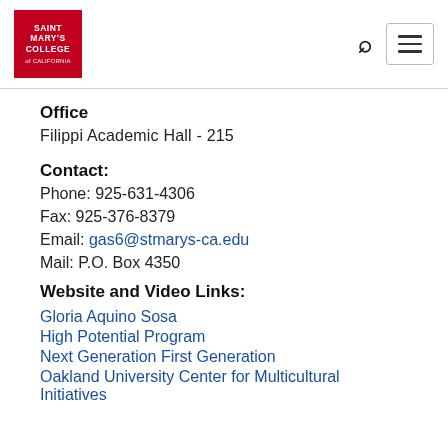Saint Mary's College of California
Office
Filippi Academic Hall - 215
Contact:
Phone: 925-631-4306
Fax: 925-376-8379
Email: gas6@stmarys-ca.edu
Mail: P.O. Box 4350
Website and Video Links:
Gloria Aquino Sosa
High Potential Program
Next Generation First Generation
Oakland University Center for Multicultural Initiatives